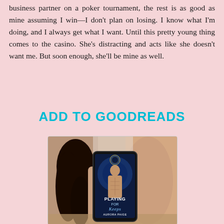business partner on a poker tournament, the rest is as good as mine assuming I win—I don't plan on losing. I know what I'm doing, and I always get what I want. Until this pretty young thing comes to the casino. She's distracting and acts like she doesn't want me. But soon enough, she'll be mine as well.
ADD TO GOODREADS
[Figure (photo): Book cover image for 'Playing for Keeps' by Aurora Paige, showing a romantic couple in the background and an e-reader/tablet displaying the book cover with a shirtless man in front.]